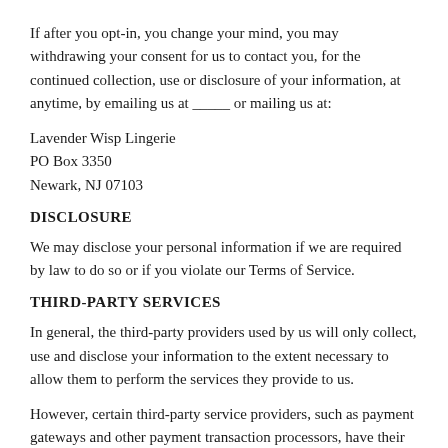If after you opt-in, you change your mind, you may withdrawing your consent for us to contact you, for the continued collection, use or disclosure of your information, at anytime, by emailing us at _____ or mailing us at:
Lavender Wisp Lingerie
PO Box 3350
Newark, NJ 07103
DISCLOSURE
We may disclose your personal information if we are required by law to do so or if you violate our Terms of Service.
THIRD-PARTY SERVICES
In general, the third-party providers used by us will only collect, use and disclose your information to the extent necessary to allow them to perform the services they provide to us.
However, certain third-party service providers, such as payment gateways and other payment transaction processors, have their